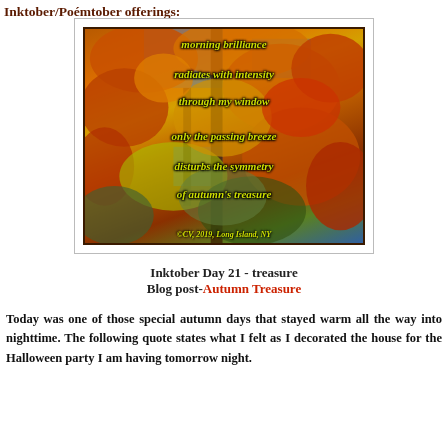Inktober/Poémtober offerings:
[Figure (photo): Autumn tree photo with orange and yellow fall foliage against blue sky, overlaid with italic poem text in yellow-green: 'morning brilliance / radiates with intensity / through my window / only the passing breeze / disturbs the symmetry / of autumn's treasure' with copyright '©CV, 2019, Long Island, NY']
Inktober Day 21 - treasure
Blog post-Autumn Treasure
Today was one of those special autumn days that stayed warm all the way into nighttime. The following quote states what I felt as I decorated the house for the Halloween party I am having tomorrow night.